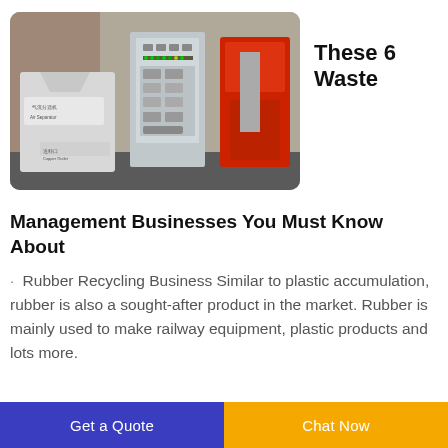[Figure (photo): Industrial waste recycling machinery including an air separator and control panel with red machine components, outdoors against a brick wall.]
These 6 Waste
Management Businesses You Must Know About
Rubber Recycling Business Similar to plastic accumulation, rubber is also a sought-after product in the market. Rubber is mainly used to make railway equipment, plastic products and lots more.
Get a Quote   Chat Now